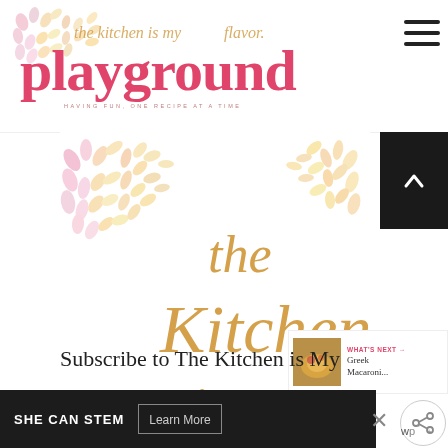the kitchen is my playground — HAVING FUN, ONE RECIPE AT A TIME
[Figure (logo): The Kitchen is My Playground blog logo with decorative floral circles and script/serif text]
[Figure (illustration): Blog logo art: floral dot clusters in pink/peach/gold corners with script text 'the Kitchen is my playground' in gold/pink]
WHAT'S NEXT → Greek Macaroni...
Subscribe to The Kitchen is My
SHE CAN STEM   Learn More